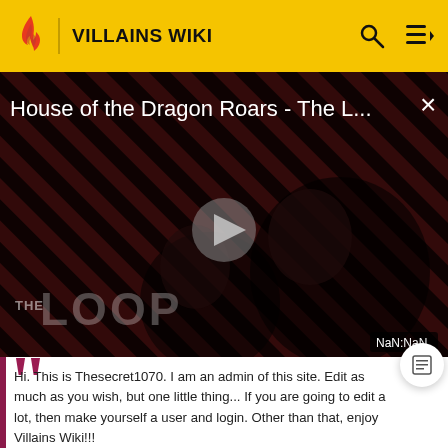VILLAINS WIKI
[Figure (screenshot): Video player showing 'House of the Dragon Roars - The L...' with a play button, diagonal stripe background, silhouetted figures, THE LOOP watermark, close X button, and NaN:NaN time display]
Hi. This is Thesecret1070. I am an admin of this site. Edit as much as you wish, but one little thing... If you are going to edit a lot, then make yourself a user and login. Other than that, enjoy Villains Wiki!!!